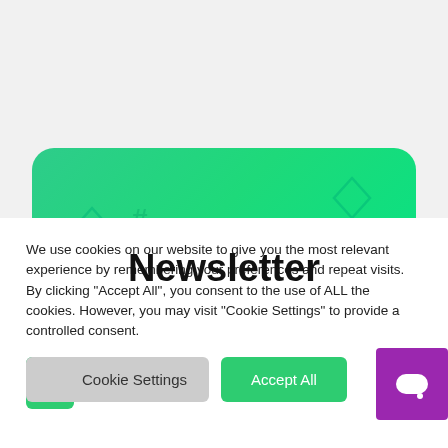[Figure (illustration): Green rounded rectangle banner with decorative geometric shapes in the background and the word 'Newsletter' in bold black text centered on it]
We use cookies on our website to give you the most relevant experience by remembering your preferences and repeat visits. By clicking "Accept All", you consent to the use of ALL the cookies. However, you may visit "Cookie Settings" to provide a controlled consent.
[Figure (screenshot): Cookie settings button (gray with green scroll-up arrow icon) and Accept All button (green), plus a purple chat widget button in the bottom right]